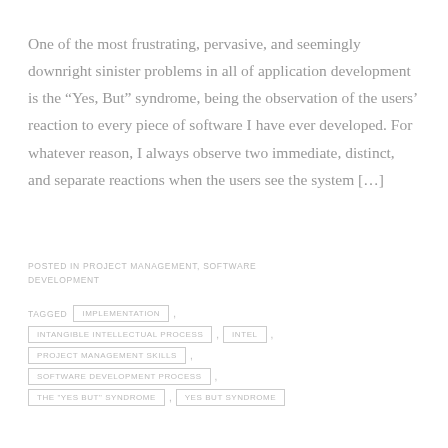One of the most frustrating, pervasive, and seemingly downright sinister problems in all of application development is the “Yes, But” syndrome, being the observation of the users’ reaction to every piece of software I have ever developed. For whatever reason, I always observe two immediate, distinct, and separate reactions when the users see the system […]
POSTED IN PROJECT MANAGEMENT, SOFTWARE DEVELOPMENT
TAGGED IMPLEMENTATION , INTANGIBLE INTELLECTUAL PROCESS , INTEL , PROJECT MANAGEMENT SKILLS , SOFTWARE DEVELOPMENT PROCESS , THE "YES BUT" SYNDROME , YES BUT SYNDROME